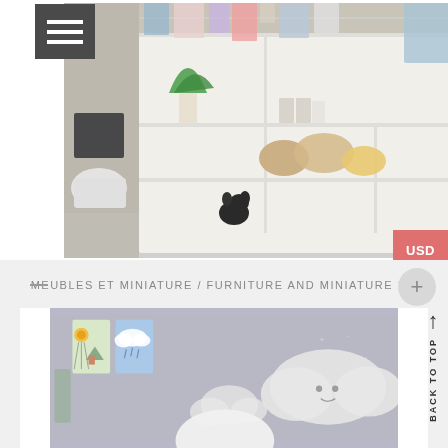[Figure (photo): Miniature dollhouse closet scene with shelves containing small shoes, handbags, accessories, and hanging clothes. A small plant is visible. Menu button in top left corner.]
MEUBLES ET MINIATURE / FURNITURE AND MINIATURE 1/4
[Figure (photo): Miniature children's room scene with colorful wall art posters (balloon, cloud), cloud-shaped decorations on gray wall with star/sparkle details.]